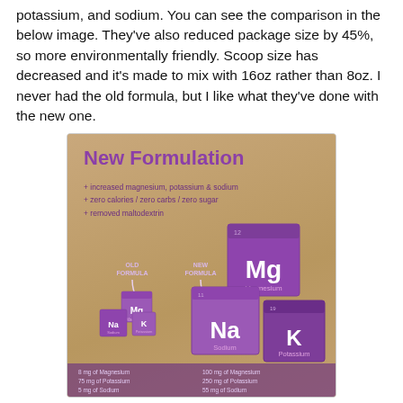potassium, and sodium. You can see the comparison in the below image. They've also reduced package size by 45%, so more environmentally friendly. Scoop size has decreased and it's made to mix with 16oz rather than 8oz. I never had the old formula, but I like what they've done with the new one.
[Figure (infographic): New Formulation infographic showing old formula vs new formula for an electrolyte supplement. Purple periodic-element style cubes showing Mg (Magnesium), Na (Sodium), K (Potassium) in larger sizes for new formula. Old formula: 8mg Magnesium, 75mg Potassium, 5mg Sodium. New formula: 100mg Magnesium, 250mg Potassium, 55mg Sodium. Bullet points: increased magnesium, potassium & sodium; zero calories / zero carbs / zero sugar; removed maltodextrin.]